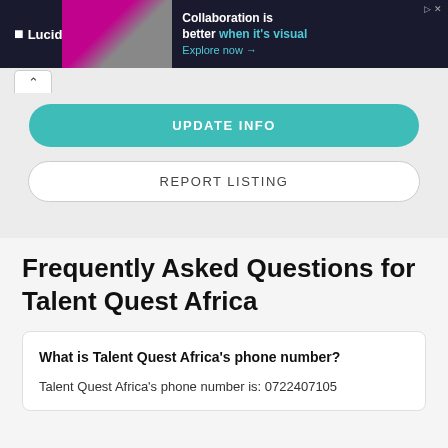[Figure (screenshot): Lucid advertisement banner with dark background. Lucid logo on left, image of person in center, text 'Collaboration is better when it’s visual. Explore now →' on right.]
UPDATE INFO
REPORT LISTING
Frequently Asked Questions for Talent Quest Africa
What is Talent Quest Africa’s phone number?
Talent Quest Africa’s phone number is: 0722407105